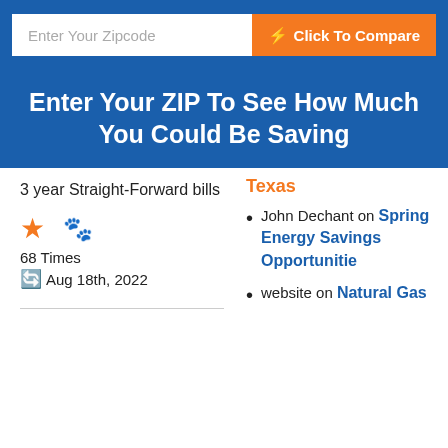Enter Your Zipcode
Click To Compare
Enter Your ZIP To See How Much You Could Be Saving
3 year Straight-Forward bills
68 Times
Aug 18th, 2022
Texas
John Dechant on Spring Energy Savings Opportunities
website on Natural Gas